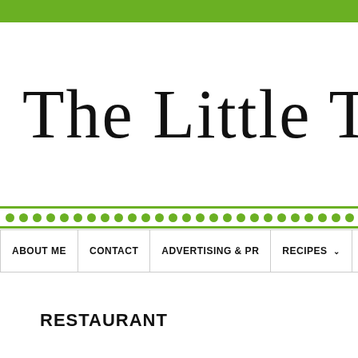The Little Thing
[Figure (other): Decorative divider with two green horizontal lines and a row of green dots between them]
ABOUT ME | CONTACT | ADVERTISING & PR | RECIPES | CRA
RESTAURANT